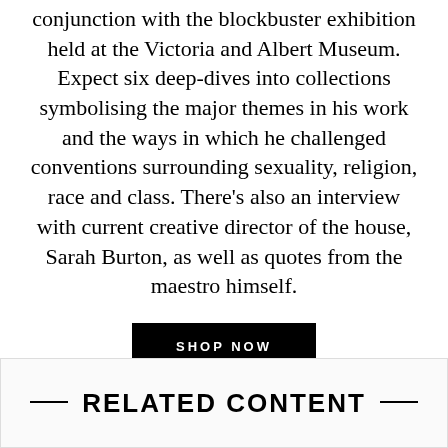conjunction with the blockbuster exhibition held at the Victoria and Albert Museum. Expect six deep-dives into collections symbolising the major themes in his work and the ways in which he challenged conventions surrounding sexuality, religion, race and class. There's also an interview with current creative director of the house, Sarah Burton, as well as quotes from the maestro himself.
SHOP NOW
— RELATED CONTENT —